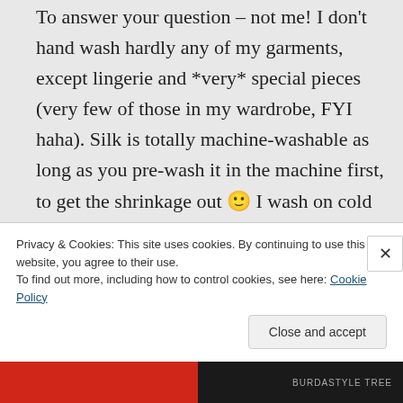To answer your question – not me! I don't hand wash hardly any of my garments, except lingerie and *very* special pieces (very few of those in my wardrobe, FYI haha). Silk is totally machine-washable as long as you pre-wash it in the machine first, to get the shrinkage out 🙂 I wash on cold and dry on regular heat before I cut it up, and then treat the existing garment as a wash cold/hang-dry (only because silk does wrinkle in the dryer and I don't want to iron
Privacy & Cookies: This site uses cookies. By continuing to use this website, you agree to their use.
To find out more, including how to control cookies, see here: Cookie Policy